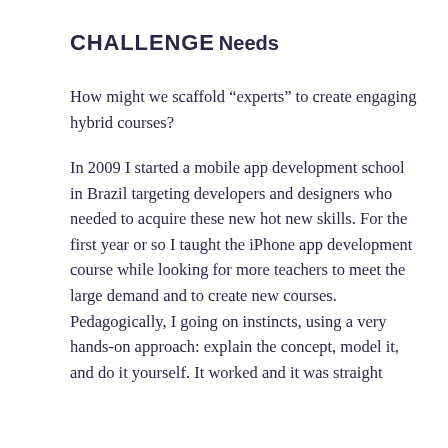CHALLENGE
Needs
How might we scaffold “experts” to create engaging hybrid courses?
In 2009 I started a mobile app development school in Brazil targeting developers and designers who needed to acquire these new hot new skills. For the first year or so I taught the iPhone app development course while looking for more teachers to meet the large demand and to create new courses. Pedagogically, I going on instincts, using a very hands-on approach: explain the concept, model it, and do it yourself. It worked and it was straight